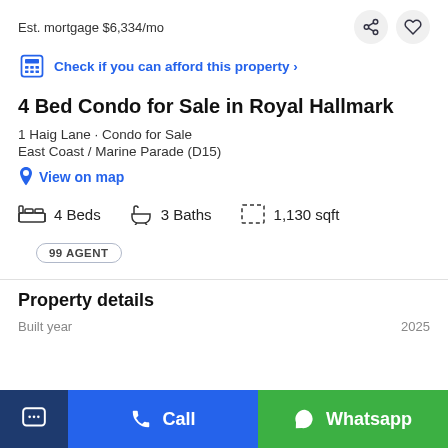Est. mortgage $6,334/mo
Check if you can afford this property >
4 Bed Condo for Sale in Royal Hallmark
1 Haig Lane · Condo for Sale
East Coast / Marine Parade (D15)
View on map
4 Beds
3 Baths
1,130 sqft
99 AGENT
Property details
Built year
2025